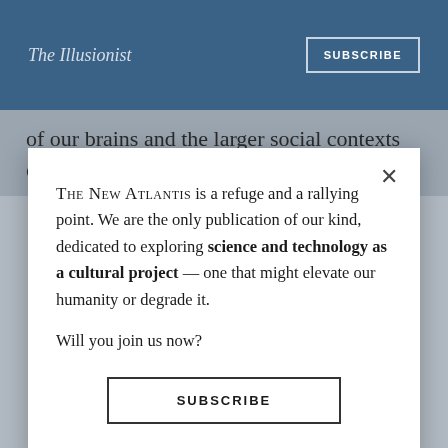The Illusionist
of our brains and the larger social contexts of others'
THE NEW ATLANTIS is a refuge and a rallying point. We are the only publication of our kind, dedicated to exploring science and technology as a cultural project — one that might elevate our humanity or degrade it.

Will you join us now?
SUBSCRIBE